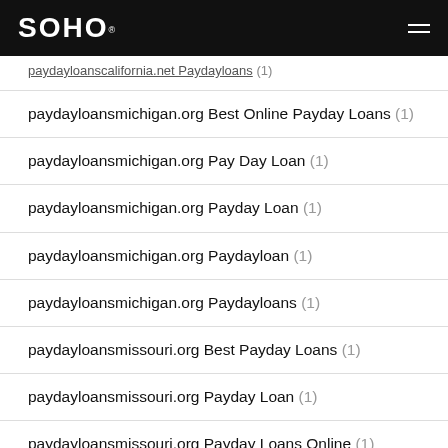SOHO
paydayloanscalifornia.net Paydayloans (1)
paydayloansmichigan.org Best Online Payday Loans (1)
paydayloansmichigan.org Pay Day Loan (1)
paydayloansmichigan.org Payday Loan (1)
paydayloansmichigan.org Paydayloan (1)
paydayloansmichigan.org Paydayloans (1)
paydayloansmissouri.org Best Payday Loans (1)
paydayloansmissouri.org Payday Loan (1)
paydayloansmissouri.org Payday Loans Online (1)